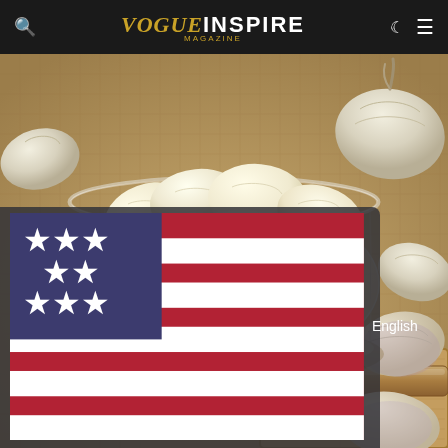VOGUE INSPIRE MAGAZINE
[Figure (photo): A glass bowl filled with peeled garlic cloves, surrounded by whole garlic bulbs and cloves on a woven mat surface with a wooden-handled knife in the foreground.]
English